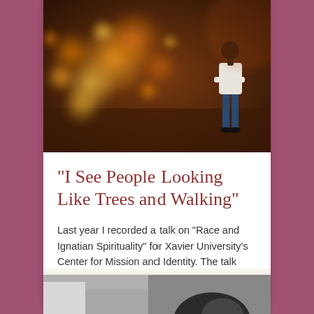[Figure (photo): Atmospheric bokeh photo with warm orange and amber circular light orbs on the left side, and a lone figure standing in the background right — wearing a white shirt and dark jeans — set against a dark brown blurred background.]
“I See People Looking Like Trees and Walking”
Last year I recorded a talk on “Race and Ignatian Spirituality” for Xavier University’s Center for Mission and Identity. The talk was …
[Figure (photo): Partial black and white photograph visible at the bottom of the page, showing the top of a person's head.]